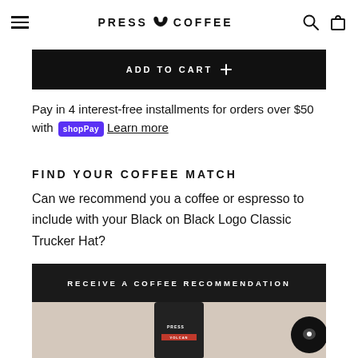PRESS COFFEE
ADD TO CART +
Pay in 4 interest-free installments for orders over $50 with shop Pay Learn more
FIND YOUR COFFEE MATCH
Can we recommend you a coffee or espresso to include with your Black on Black Logo Classic Trucker Hat?
[Figure (screenshot): Dark banner with text RECEIVE A COFFEE RECOMMENDATION and a Press Coffee product bag image below, with a chat bubble icon in the bottom right.]